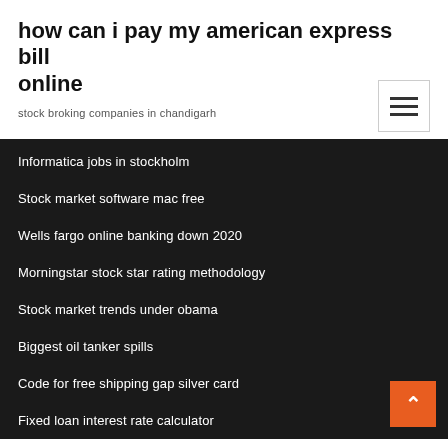how can i pay my american express bill online
stock broking companies in chandigarh
Informatica jobs in stockholm
Stock market software mac free
Wells fargo online banking down 2020
Morningstar stock star rating methodology
Stock market trends under obama
Biggest oil tanker spills
Code for free shipping gap silver card
Fixed loan interest rate calculator